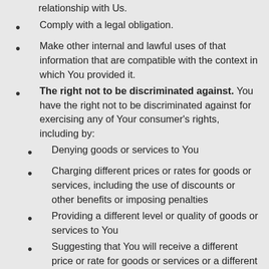relationship with Us.
Comply with a legal obligation.
Make other internal and lawful uses of that information that are compatible with the context in which You provided it.
The right not to be discriminated against. You have the right not to be discriminated against for exercising any of Your consumer's rights, including by:
Denying goods or services to You
Charging different prices or rates for goods or services, including the use of discounts or other benefits or imposing penalties
Providing a different level or quality of goods or services to You
Suggesting that You will receive a different price or rate for goods or services or a different level or quality of goods or services